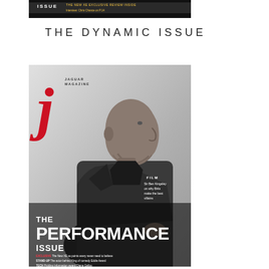[Figure (photo): Top cropped magazine cover image showing 'ISSUE' text and partial cover with yellow text on dark background]
THE DYNAMIC ISSUE
[Figure (photo): Magazine cover of 'j' (Jaguar Magazine) showing a bald man in side profile wearing a dark suit, with large red italic 'j' logo, text reading 'THE PERFORMANCE ISSUE', FILM section about Ben Kingsley on why Brits make the best villains, EXCLUSIVE text about new XE, STAND-UP and TECH sections]